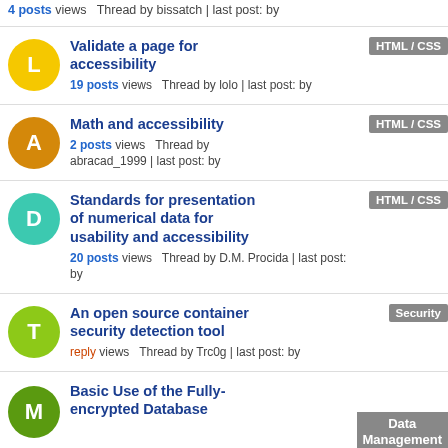4 posts views  Thread by bissatch | last post: by
Validate a page for accessibility
19 posts views  Thread by lolo | last post: by
Tag: HTML / CSS
Math and accessibility
2 posts views  Thread by abracad_1999 | last post: by
Tag: HTML / CSS
Standards for presentation of numerical data for usability and accessibility
20 posts views  Thread by D.M. Procida | last post: by
Tag: HTML / CSS
An open source container security detection tool
reply views  Thread by Trc0g | last post: by
Tag: Security
Basic Use of the Fully-encrypted Database
Tag: Data Management